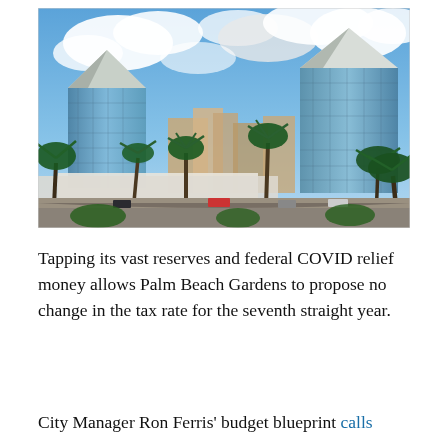[Figure (photo): Aerial/ground-level view of Palm Beach Gardens city skyline with glass office towers topped with pyramid-shaped roofs, palm trees in foreground, blue sky with clouds]
Tapping its vast reserves and federal COVID relief money allows Palm Beach Gardens to propose no change in the tax rate for the seventh straight year.
City Manager Ron Ferris' budget blueprint calls